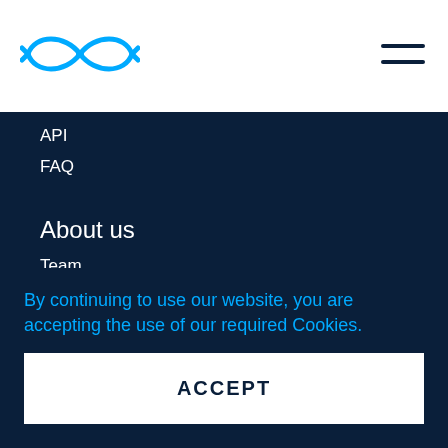[Figure (logo): Blue fish/Pisces symbol logo icon]
[Figure (other): Hamburger menu icon (three horizontal lines)]
API
FAQ
About us
Team
Press
By continuing to use our website, you are accepting the use of our required Cookies.
ACCEPT